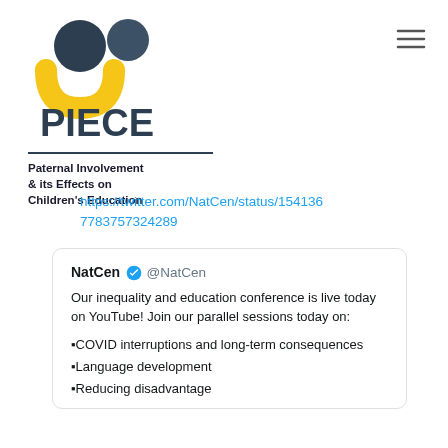[Figure (logo): PIECE logo with two figures and tagline]
Paternal Involvement & its Effects on Children's Education
https://twitter.com/NatCen/status/15413677783757324289
NatCen @NatCen
Our inequality and education conference is live today on YouTube! Join our parallel sessions today on:

•COVID interruptions and long-term consequences
•Language development
•Reducing disadvantage